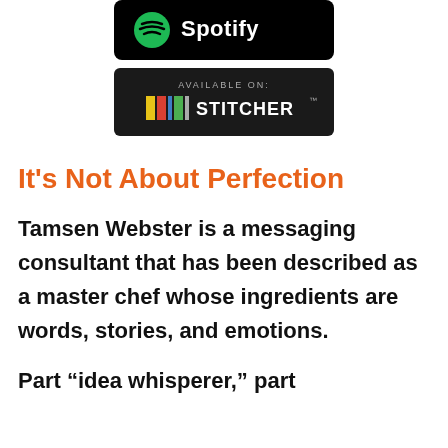[Figure (logo): Spotify app badge - black rounded rectangle with green Spotify logo and wordmark]
[Figure (logo): Stitcher podcast badge - dark rounded rectangle with 'AVAILABLE ON: STITCHER' text and colorful bar logo]
It's Not About Perfection
Tamsen Webster is a messaging consultant that has been described as a master chef whose ingredients are words, stories, and emotions.
Part “idea whisperer,” part